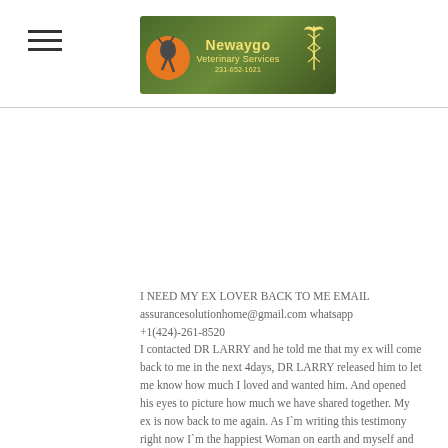[Figure (logo): Newaygo Veterinary Services banner/logo with green background, orange circle with bird silhouette on left, caduceus symbol on right, text 'Newaygo Veterinary Services' and phone number 231-652-1621]
I NEED MY EX LOVER BACK TO ME EMAIL assurancesolutionhome@gmail.com whatsapp +1(424)-261-8520 I contacted DR LARRY and he told me that my ex will come back to me in the next 4days, DR LARRY released him to let me know how much I loved and wanted him. And opened his eyes to picture how much we have shared together. My ex is now back to me again. As I`m writing this testimony right now I`m the happiest Woman on earth and myself and my